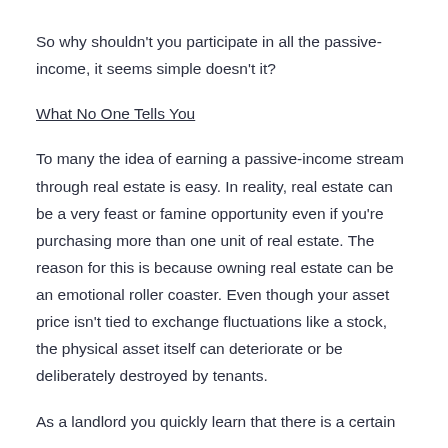So why shouldn't you participate in all the passive-income, it seems simple doesn't it?
What No One Tells You
To many the idea of earning a passive-income stream through real estate is easy. In reality, real estate can be a very feast or famine opportunity even if you're purchasing more than one unit of real estate. The reason for this is because owning real estate can be an emotional roller coaster. Even though your asset price isn't tied to exchange fluctuations like a stock, the physical asset itself can deteriorate or be deliberately destroyed by tenants.
As a landlord you quickly learn that there is a certain